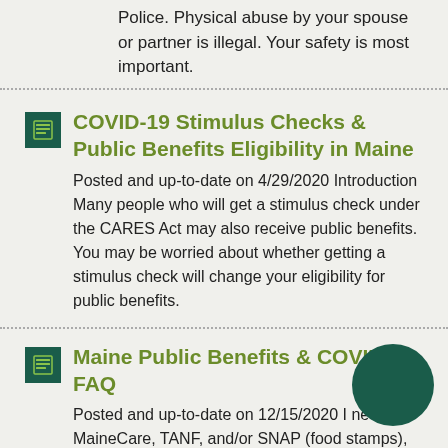Police. Physical abuse by your spouse or partner is illegal. Your safety is most important.
COVID-19 Stimulus Checks & Public Benefits Eligibility in Maine
Posted and up-to-date on 4/29/2020 Introduction Many people who will get a stimulus check under the CARES Act may also receive public benefits. You may be worried about whether getting a stimulus check will change your eligibility for public benefits.
Maine Public Benefits & COVID-19 FAQ
Posted and up-to-date on 12/15/2020 I need MaineCare, TANF, and/or SNAP (food stamps), where do I go to apply? These services are run through the Maine Department of Health and Human Services (DHHS).
Maine and New England Farmworkers, COVID-19 and Protection from Retaliation